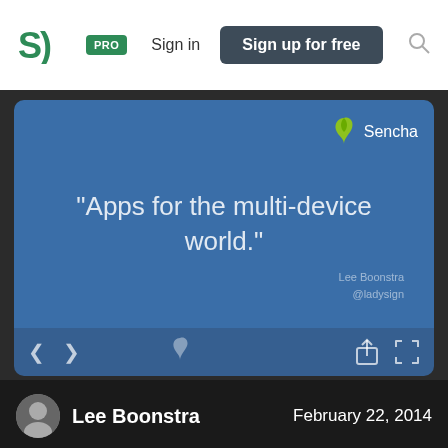[Figure (screenshot): SpeakerDeck website navigation bar with logo, PRO badge, Sign in, Sign up for free button, and search icon]
[Figure (screenshot): Presentation slide viewer showing a blue slide with quote: "Apps for the multi-device world." with Sencha logo in top right, attributed to Lee Boonstra @ladysign, with navigation arrows and share/fullscreen controls]
Lee Boonstra
February 22, 2014